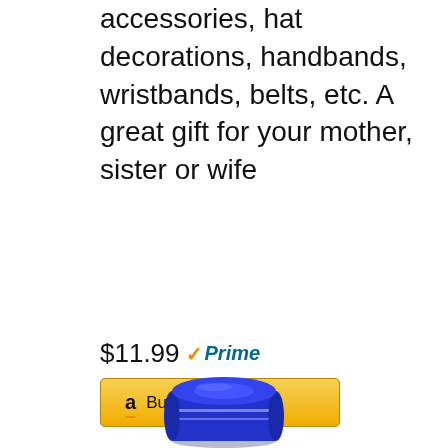accessories, hat decorations, handbands, wristbands, belts, etc. A great gift for your mother, sister or wife
$11.99 ✓Prime
Buy on Amazon
[Figure (photo): A blue cylindrical spool of ribbon or tape product, viewed from a slight angle showing the top and side.]